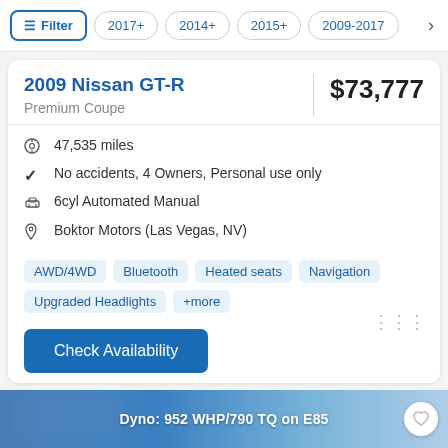Filter | 2017+ | 2014+ | 2015+ | 2009-2017
2009 Nissan GT-R
Premium Coupe
$73,777
47,535 miles
No accidents, 4 Owners, Personal use only
6cyl Automated Manual
Boktor Motors (Las Vegas, NV)
AWD/4WD  Bluetooth  Heated seats  Navigation  Upgraded Headlights  +more
Check Availability
[Figure (photo): Bottom banner showing car image with text: Dyno: 952 WHP/790 TQ on E85]